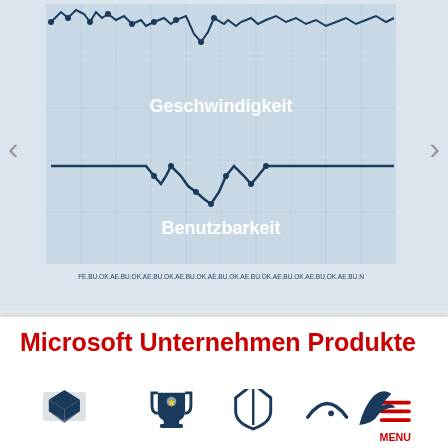[Figure (continuous-plot): Line chart showing 'Geschwindigkeit' (speed) and 'Benutzbarkeit' (usability) metrics over time. The top line shows speed data with dropping peaks near the top. The bottom flat line shows usability at level 6, with a dip in the middle region. X-axis shows repeated abbreviated month/category labels (FE.BU.OK.AE.BU.OK.AE...). Navigation arrows on left and right.]
Microsoft Unternehmen Produkte
[Figure (infographic): Row of 5 dark blue icons: Dropbox/box icon, trophy cup icon, shield icon, speed/road icon, hamburger menu icon labeled MENU]